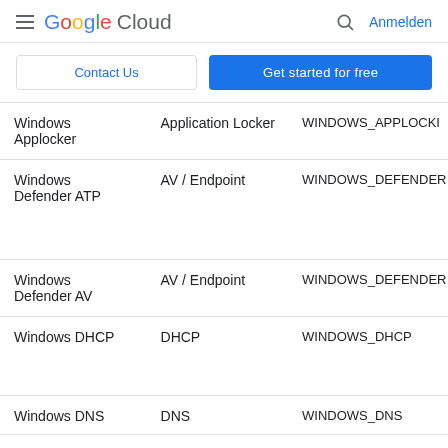Google Cloud — Anmelden
| Windows Applocker | Application Locker | WINDOWS_APPLOCKER |
| Windows Defender ATP | AV / Endpoint | WINDOWS_DEFENDER… |
| Windows Defender AV | AV / Endpoint | WINDOWS_DEFENDER… |
| Windows DHCP | DHCP | WINDOWS_DHCP |
| Windows DNS | DNS | WINDOWS_DNS |